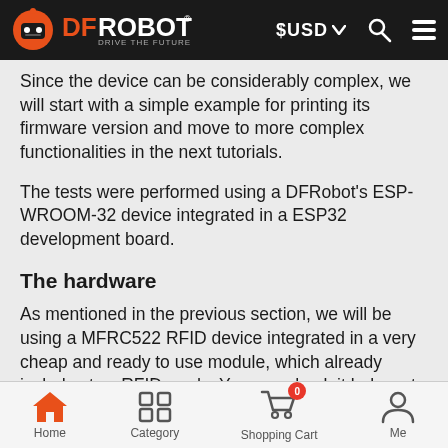DFRobot - Drive the Future | $USD
Since the device can be considerably complex, we will start with a simple example for printing its firmware version and move to more complex functionalities in the next tutorials.
The tests were performed using a DFRobot's ESP-WROOM-32 device integrated in a ESP32 development board.
The hardware
As mentioned in the previous section, we will be using a MFRC522 RFID device integrated in a very cheap and ready to use module, which already includes two RFID cards. You can check it below at figure 1.
Home | Category | Shopping Cart | Me